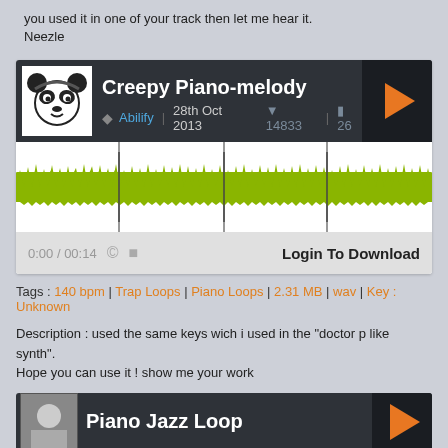you used it in one of your track then let me hear it.
Neezle
[Figure (screenshot): Audio player card for 'Creepy Piano-melody' by Abilify, dated 28th Oct 2013, with 14833 downloads and 26 comments. Shows waveform visualization in yellow-green, play button, time 0:00/00:14, Login To Download button.]
Tags : 140 bpm | Trap Loops | Piano Loops | 2.31 MB | wav | Key : Unknown
Description : used the same keys wich i used in the "doctor p like synth".
Hope you can use it ! show me your work
[Figure (screenshot): Bottom of page showing start of another audio player card titled 'Piano Jazz Loop']